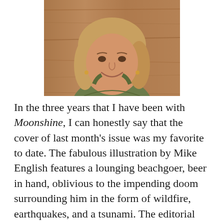[Figure (photo): Headshot of a smiling woman with blonde hair wearing a green tank top, photographed against a wooden background.]
In the three years that I have been with Moonshine, I can honestly say that the cover of last month's issue was my favorite to date. The fabulous illustration by Mike English features a lounging beachgoer, beer in hand, oblivious to the impending doom surrounding him in the form of wildfire, earthquakes, and a tsunami. The editorial team jokingly dubbed it our Doomsday Edition. But with wildfires